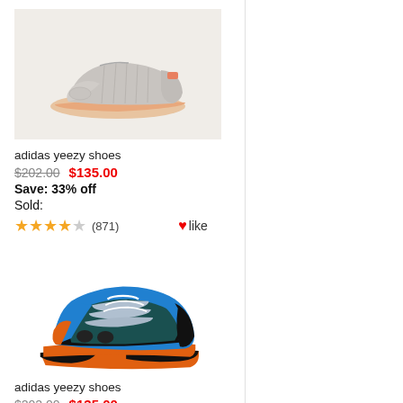[Figure (photo): Adidas Yeezy 350 sneaker in gray with coral/salmon sole stripe on beige background]
adidas yeezy shoes
$202.00  $135.00
Save: 33% off
Sold:
★★★★☆ (871)  ♥like
[Figure (photo): Adidas Yeezy 700 sneaker in blue, black, and orange colorway]
adidas yeezy shoes
$202.00  $135.00